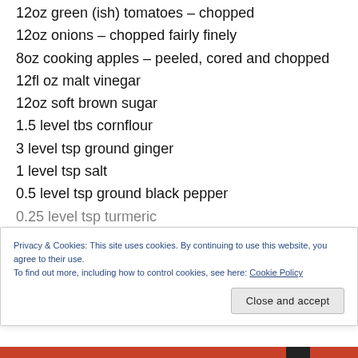12oz green (ish) tomatoes – chopped
12oz onions – chopped fairly finely
8oz cooking apples – peeled, cored and chopped
12fl oz malt vinegar
12oz soft brown sugar
1.5 level tbs cornflour
3 level tsp ground ginger
1 level tsp salt
0.5 level tsp ground black pepper
0.25 level tsp turmeric
Privacy & Cookies: This site uses cookies. By continuing to use this website, you agree to their use.
To find out more, including how to control cookies, see here: Cookie Policy
Close and accept